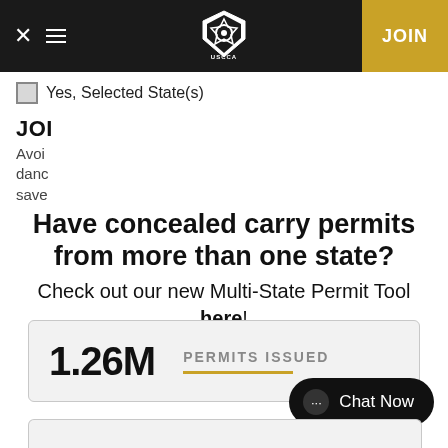USCCA — JOIN
Yes, Selected State(s)
JOIN
Avoi
danc
save
Have concealed carry permits from more than one state?
Check out our new Multi-State Permit Tool here!
1.26M  PERMITS ISSUED
Chat Now